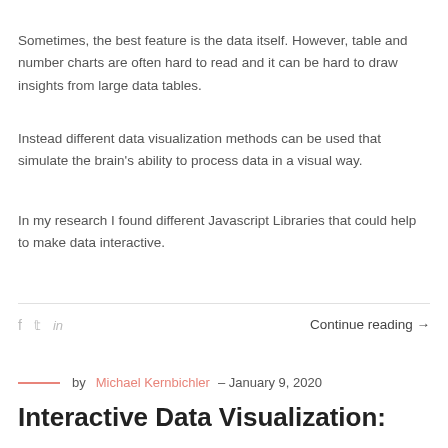Sometimes, the best feature is the data itself. However, table and number charts are often hard to read and it can be hard to draw insights from large data tables.
Instead different data visualization methods can be used that simulate the brain's ability to process data in a visual way.
In my research I found different Javascript Libraries that could help to make data interactive.
Continue reading →
by Michael Kernbichler – January 9, 2020
Interactive Data Visualization: